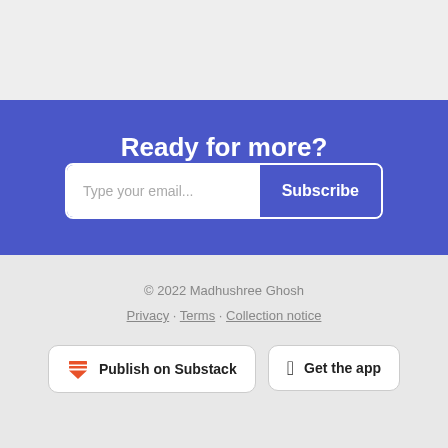Ready for more?
Type your email...
Subscribe
© 2022 Madhushree Ghosh
Privacy · Terms · Collection notice
Publish on Substack
Get the app